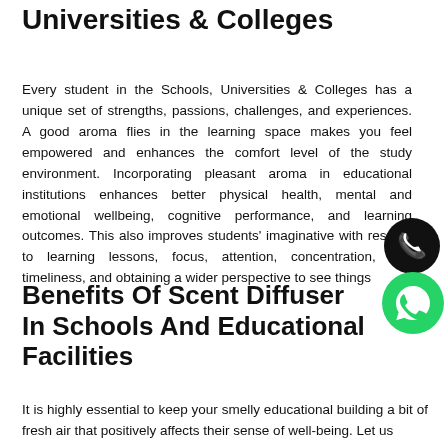Universities & Colleges
Every student in the Schools, Universities & Colleges has a unique set of strengths, passions, challenges, and experiences. A good aroma flies in the learning space makes you feel empowered and enhances the comfort level of the study environment. Incorporating pleasant aroma in educational institutions enhances better physical health, mental and emotional wellbeing, cognitive performance, and learning outcomes. This also improves students' imaginative with respect to learning lessons, focus, attention, concentration, and timeliness, and obtaining a wider perspective to see things
[Figure (illustration): Phone call icon (dark circle with phone handset) and WhatsApp icon (green circle with phone/WhatsApp logo)]
Benefits Of Scent Diffuser In Schools And Educational Facilities
It is highly essential to keep your smelly educational building a bit of fresh air that positively affects their sense of well-being. Let us